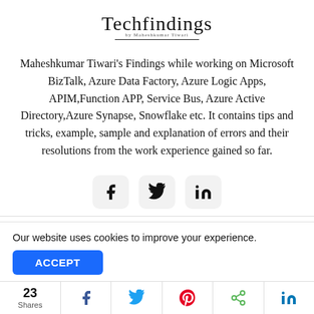[Figure (logo): Techfindings cursive logo with tagline 'by Maheshkumar Tiwari' and a horizontal line beneath]
Maheshkumar Tiwari's Findings while working on Microsoft BizTalk, Azure Data Factory, Azure Logic Apps, APIM,Function APP, Service Bus, Azure Active Directory,Azure Synapse, Snowflake etc. It contains tips and tricks, example, sample and explanation of errors and their resolutions from the work experience gained so far.
[Figure (infographic): Three social share buttons: Facebook, Twitter, LinkedIn]
Copyright @2022 Techfindings... By Maheshkumar Tiwari.
Our website uses cookies to improve your experience.
[Figure (infographic): Share bar at bottom: 23 Shares, Facebook, Twitter, Pinterest, Share, LinkedIn icons]